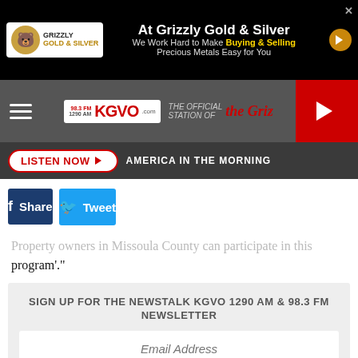[Figure (screenshot): Grizzly Gold & Silver advertisement banner. Text reads: At Grizzly Gold & Silver, We Work Hard to Make Buying & Selling Precious Metals Easy for You]
[Figure (logo): KGVO radio station navigation bar with hamburger menu, KGVO 98.3 FM / 1290 AM logo, The Griz logo, and red play button]
[Figure (screenshot): Listen Now button bar with text AMERICA IN THE MORNING]
f Share
Tweet
Property owners in Missoula County can participate in this program'."
SIGN UP FOR THE NEWSTALK KGVO 1290 AM & 98.3 FM NEWSLETTER
Email Address
[Figure (screenshot): Hawthorne Home Restoration advertisement. Text: When You Need Restoration Services Now! Mold • Fire • Water • Flood. Call us today!]